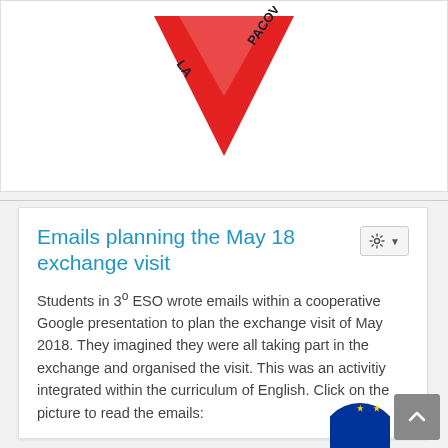[Figure (logo): Red downward-pointing triangle logo with text 'LA PACOV' written along the edges, on white background]
Emails planning the May 18 exchange visit
Students in 3º ESO wrote emails within a cooperative Google presentation to plan the exchange visit of May 2018. They imagined they were all taking part in the exchange and organised the visit. This was an activitiy integrated within the curriculum of English. Click on the picture to read the emails:
[Figure (illustration): Partial EU flag circle (blue with yellow stars) visible at bottom right corner of page]